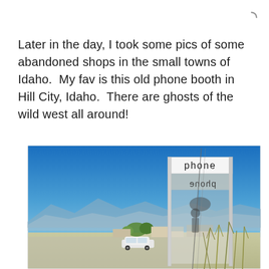Later in the day, I took some pics of some abandoned shops in the small towns of Idaho.  My fav is this old phone booth in Hill City, Idaho.  There are ghosts of the wild west all around!
[Figure (photo): Photograph of an old phone booth in Hill City, Idaho. The booth is a silver/white metal frame structure with glass panels, showing the word 'phone' on a panel and its reflection reading 'phone' backwards. In the background is a clear blue sky, flat rural landscape with mountains in the distance, a white car parked nearby, and wild grass/wheat stalks in the foreground.]